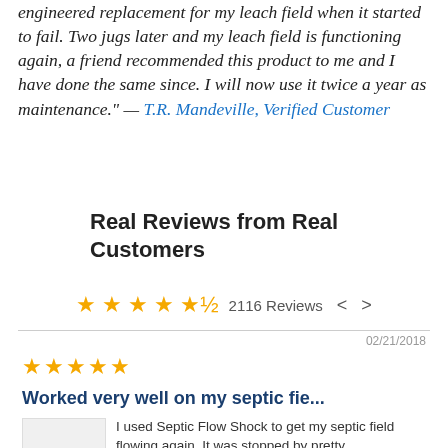engineered replacement for my leach field when it started to fail. Two jugs later and my leach field is functioning again, a friend recommended this product to me and I have done the same since. I will now use it twice a year as maintenance." — T.R. Mandeville, Verified Customer
Real Reviews from Real Customers
★★★★½ 2116 Reviews < >
02/21/2018
★★★★★
Worked very well on my septic fie...
I used Septic Flow Shock to get my septic field flowing again. It was stopped by pretty